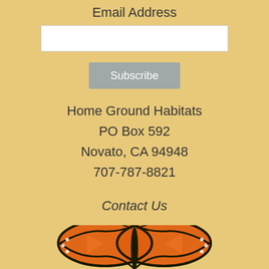Email Address
Subscribe
Home Ground Habitats
PO Box 592
Novato, CA 94948
707-787-8821
Contact Us
[Figure (illustration): Monarch butterfly with orange and black wings, wings spread open, photographed from above]